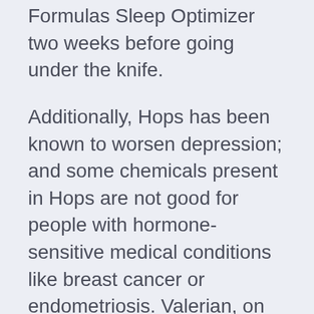Formulas Sleep Optimizer two weeks before going under the knife.
Additionally, Hops has been known to worsen depression; and some chemicals present in Hops are not good for people with hormone-sensitive medical conditions like breast cancer or endometriosis. Valerian, on the other hand, has been known to cause excessive drowsiness the morning after its use.
The bottom line is that natural does not always equal good, particularly in blends and formulations that haven't been tried